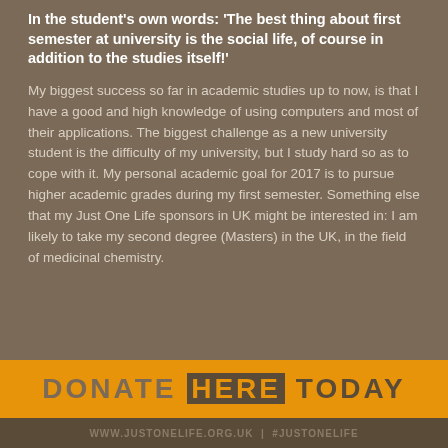In the student's own words: 'The best thing about first semester at university is the social life, of course in addition to the studies itself!'
My biggest success so far in academic studies up to now, is that I have a good and high knowledge of using computers and most of their applications. The biggest challenge as a new university student is the difficulty of my university, but I study hard so as to cope with it. My personal academic goal for 2017 is to pursue higher academic grades during my first semester. Something else that my Just One Life sponsors in UK might be interested in: I am likely to take my second degree (Masters) in the UK, in the field of medicinal chemistry.
DONATE HERE TODAY